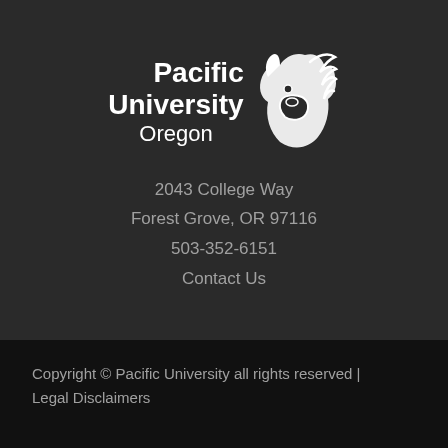[Figure (logo): Pacific University Oregon logo with stylized boxer dog mascot in white on dark gray background]
2043 College Way
Forest Grove, OR 97116
503-352-6151
Contact Us
Copyright © Pacific University all rights reserved | Legal Disclaimers